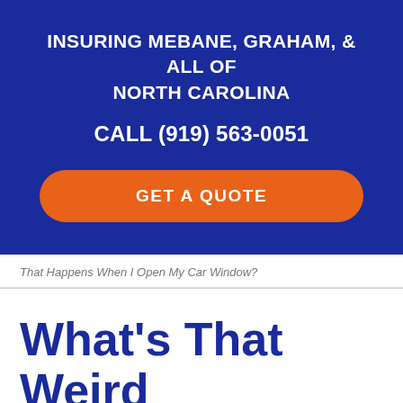INSURING MEBANE, GRAHAM, & ALL OF NORTH CAROLINA
CALL (919) 563-0051
GET A QUOTE
That Happens When I Open My Car Window?
What's That Weird Sound That Happens When...